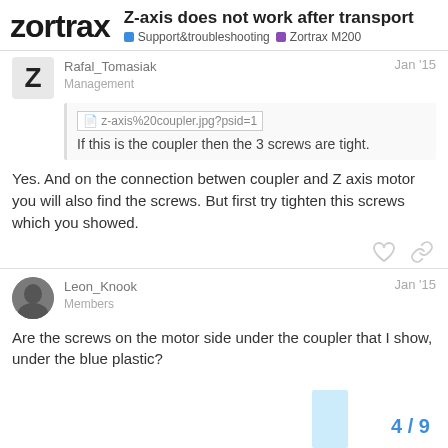Z-axis does not work after transport | Support&troubleshooting | Zortrax M200
Rafal_Tomasiak
Management
Jan '15
[z-axis%20coupler.jpg?psid=1]
If this is the coupler then the 3 screws are tight.
Yes. And on the connection betwen coupler and Z axis motor you will also find the screws. But first try tighten this screws which you showed.
Leon_Knook
Members
Jan '15
Are the screws on the motor side under the coupler that I show, under the blue plastic?
4 / 9